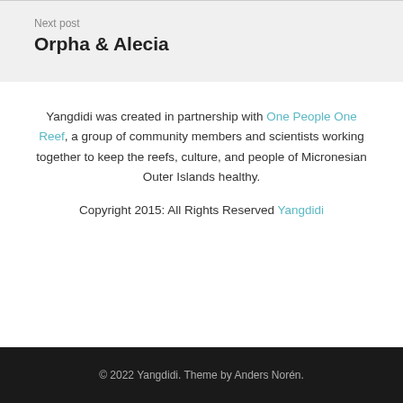Next post
Orpha & Alecia
Yangdidi was created in partnership with One People One Reef, a group of community members and scientists working together to keep the reefs, culture, and people of Micronesian Outer Islands healthy.
Copyright 2015: All Rights Reserved Yangdidi
© 2022 Yangdidi. Theme by Anders Norén.